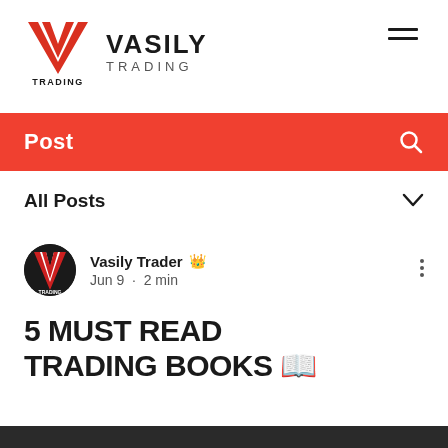[Figure (logo): Vasily Trading logo: large red V with TRADING text below, followed by VASILY TRADING brand name in bold]
VASILY TRADING
Post
All Posts
Vasily Trader 👑 Jun 9 · 2 min
5 MUST READ TRADING BOOKS 🔖